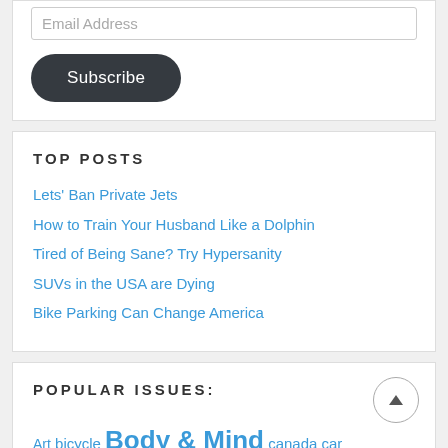Email Address
Subscribe
TOP POSTS
Lets' Ban Private Jets
How to Train Your Husband Like a Dolphin
Tired of Being Sane? Try Hypersanity
SUVs in the USA are Dying
Bike Parking Can Change America
POPULAR ISSUES:
Art bicycle Body & Mind canada car